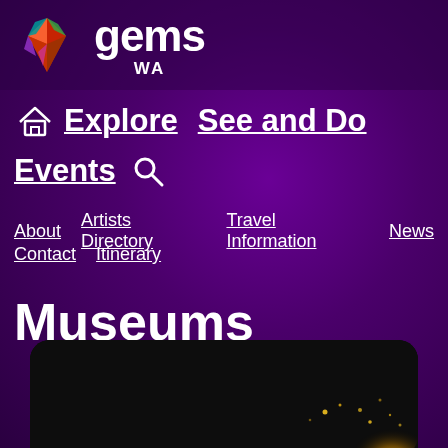[Figure (logo): GEMS WA logo with colorful gem-shaped icon and white text 'gems WA']
Explore  See and Do
Events
About   Artists Directory   Travel Information   News   Contact   Itinerary
Museums
[Figure (photo): Dark background image with golden glowing light in lower right corner, shown at bottom of page]